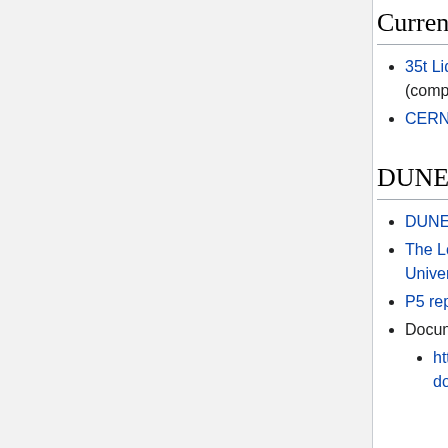Current and future prototypes
35t Liquid Argon Prototype (completed operations in 2016)
CERN Prototypes (Single and Dual-Phase) (commissioning in 2017, data taking in 2018)
DUNE and its predecessor LBNE
DUNE (formerly LBNE) in the news
The Long-Baseline Neutrino Experiment: Exploring Fundamental Symmetries of the Universe
P5 report
Document Database at FNAL (a.k.a. DocDB). Password is required.
http://lbne2-docdb.fnal.gov:8080/cgi-